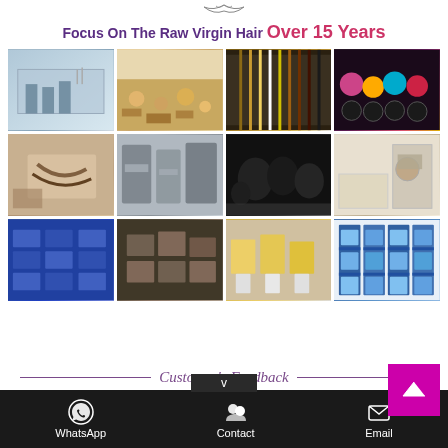Focus On The Raw Virgin Hair Over 15 Years
[Figure (photo): 3x4 grid of factory and product photos showing hair manufacturing facility, workers, hair products, wigs, packaging and storage]
Customer's Feedback
WhatsApp  Contact  Email